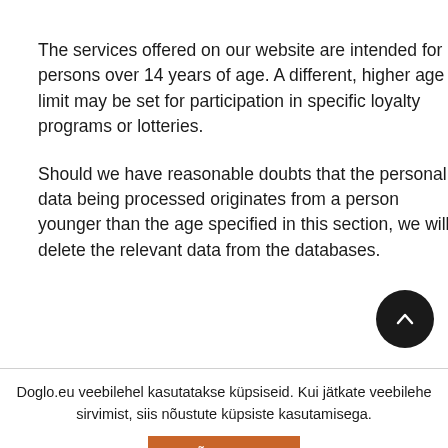The services offered on our website are intended for persons over 14 years of age. A different, higher age limit may be set for participation in specific loyalty programs or lotteries.
Should we have reasonable doubts that the personal data being processed originates from a person younger than the age specified in this section, we will delete the relevant data from the databases.
Doglo.eu veebilehel kasutatakse küpsiseid. Kui jätkate veebilehe sirvimist, siis nõustute küpsiste kasutamisega.
NÕUSTUN